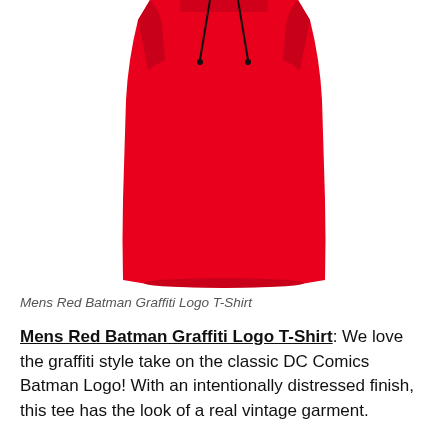[Figure (photo): Top portion of a red Batman Graffiti Logo T-Shirt shown from the front, with drawstring visible at the top]
Mens Red Batman Graffiti Logo T-Shirt
Mens Red Batman Graffiti Logo T-Shirt: We love the graffiti style take on the classic DC Comics Batman Logo! With an intentionally distressed finish, this tee has the look of a real vintage garment.
2.
[Figure (photo): Bottom portion of a blue Batman t-shirt, partially visible at bottom of page]